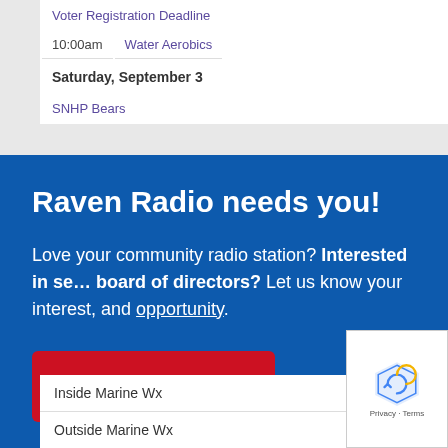| Voter Registration Deadline |
| 10:00am | Water Aerobics |
| Saturday, September 3 |
| SNHP Bears |
Raven Radio needs you!
Love your community radio station? Interested in serving on our board of directors? Let us know your interest, and learn more about the opportunity.
Click here!
| Inside Marine Wx |
| Outside Marine Wx |